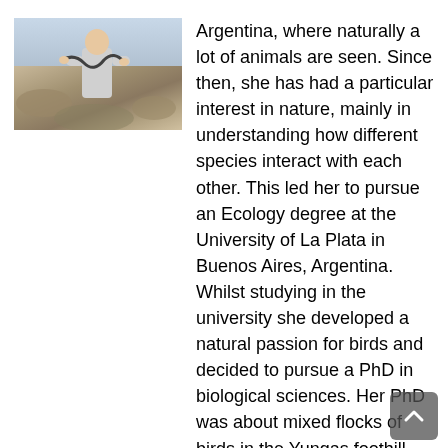[Figure (photo): A person holding a snake outdoors in a rocky/desert landscape in Argentina]
Argentina, where naturally a lot of animals are seen. Since then, she has had a particular interest in nature, mainly in understanding how different species interact with each other. This led her to pursue an Ecology degree at the University of La Plata in Buenos Aires, Argentina. Whilst studying in the university she developed a natural passion for birds and decided to pursue a PhD in biological sciences. Her PhD was about mixed flocks of birds in the Yungas foothill forest of Argentina, studying the benefits that birds gain by joining flocks and understanding the reasons behind this social behavior. During her time at university, while doing her PhD and ever since, Giselle spent a lot of time travelling, birding and exploring different countries and places. Her travels include, in particular, visits across northern Argentina (Yungas, Puna, Atlantic